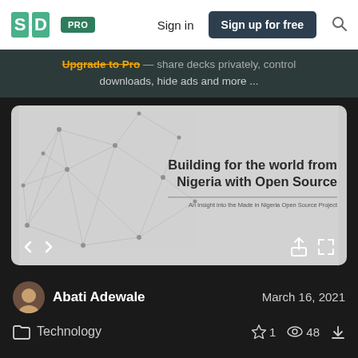SJ | PRO | Sign in | Sign up for free
Upgrade to Pro — share decks privately, control downloads, hide ads and more ...
[Figure (screenshot): Slide preview showing 'Building for the world from Nigeria with Open Source' with subtitle 'An insight into the Made in Nigeria Open Source Project', on a light grey background with network/mesh graphic on the left, and navigation arrows and share/expand icons at the bottom]
Abati Adewale   March 16, 2021
Technology   ☆ 1   👁 48   ↓